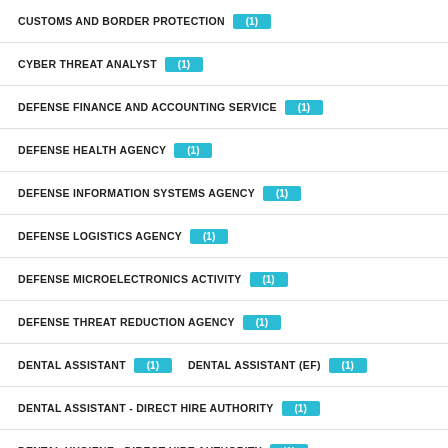CUSTOMS AND BORDER PROTECTION (1)
CYBER THREAT ANALYST (1)
DEFENSE FINANCE AND ACCOUNTING SERVICE (1)
DEFENSE HEALTH AGENCY (1)
DEFENSE INFORMATION SYSTEMS AGENCY (1)
DEFENSE LOGISTICS AGENCY (1)
DEFENSE MICROELECTRONICS ACTIVITY (1)
DEFENSE THREAT REDUCTION AGENCY (1)
DENTAL ASSISTANT (1)  DENTAL ASSISTANT (EF) (1)
DENTAL ASSISTANT - DIRECT HIRE AUTHORITY (1)
DENTAL HYGIENE - DIRECT HIRE AUTHORITY (1)
DENTAL HYGIENIST (1)
DENTAL HYGIENIST - DIRECT HIRE AUTHORITY (1)